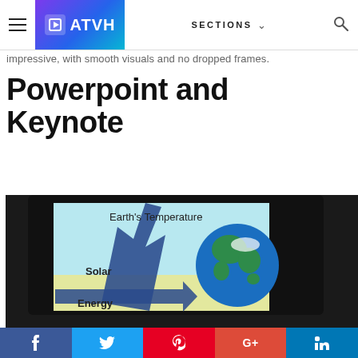ATVH | SECTIONS
impressive, with smooth visuals and no dropped frames.
Powerpoint and Keynote
[Figure (photo): A TV screen displaying a PowerPoint/Keynote slide about Earth's Temperature, showing a globe and arrows labeled Solar Energy pointing upward, on a light blue background.]
f  t  p  G+  in (social sharing bar)